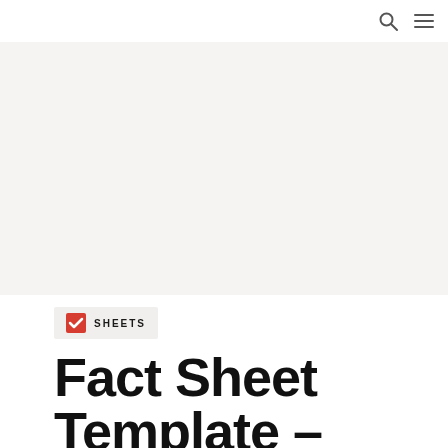[Figure (other): Gray hero/banner image area placeholder]
SHEETS
Fact Sheet Template –